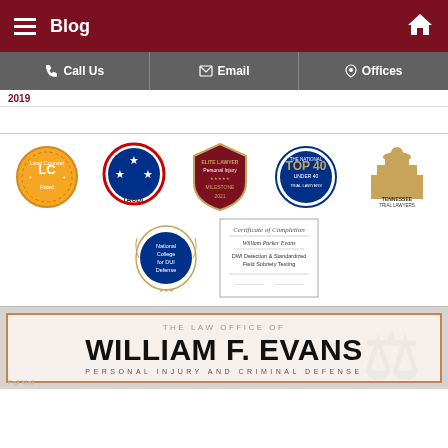Blog
Call Us | Email | Offices
[Figure (logo): Row of legal association badges: LC Lead Counsel Rated, TACDL (three stars), Elite Lawyer Personal Injury 2021, The National Top 40 Under 40 Trial Lawyers, Tennessee Trial Lawyers Association]
[Figure (logo): National College for DUI Defense seal badge and Certificate of Completion for William Parker Evans - DWI Detection & Standardized Field Sobriety Testing]
THE LAW OFFICE OF WILLIAM F. EVANS PERSONAL INJURY AND CRIMINAL DEFENSE